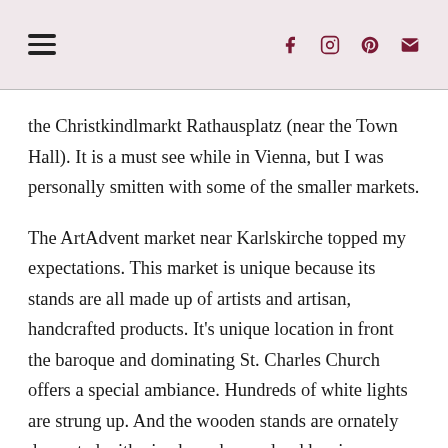☰  f  Instagram  Pinterest  Email
the Christkindlmarkt Rathausplatz (near the Town Hall). It is a must see while in Vienna, but I was personally smitten with some of the smaller markets.
The ArtAdvent market near Karlskirche topped my expectations. This market is unique because its stands are all made up of artists and artisan, handcrafted products. It's unique location in front the baroque and dominating St. Charles Church offers a special ambiance. Hundreds of white lights are strung up. And the wooden stands are ornately decorated with pine branches and red berries.